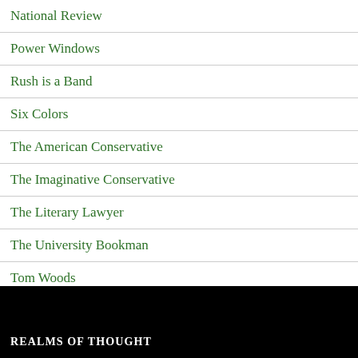National Review
Power Windows
Rush is a Band
Six Colors
The American Conservative
The Imaginative Conservative
The Literary Lawyer
The University Bookman
Tom Woods
REALMS OF THOUGHT